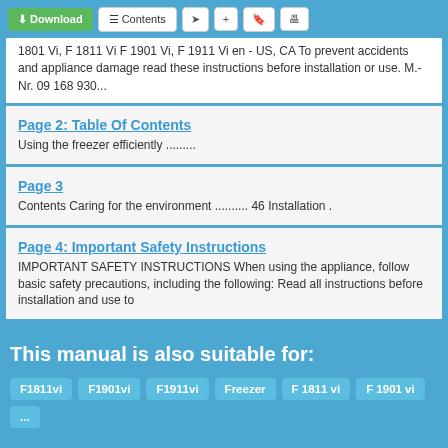Download | Contents
1801 Vi, F 1811 Vi F 1901 Vi, F 1911 Vi en - US, CA To prevent accidents and appliance damage read these instructions before installation or use. M.-Nr. 09 168 930...
Page 2: Table Of Contents
Using the freezer efficiently .........
Page 3
Contents Caring for the environment .......... 46 Installation .
Page 4: Important Safety Instructions
IMPORTANT SAFETY INSTRUCTIONS When using the appliance, follow basic safety precautions, including the following: Read all instructions before installation and use to
This manual is also suitable for:
F1811vi
F1901vi
F1911vi
Freezer
F 1811 vi
F 1901 vi
...